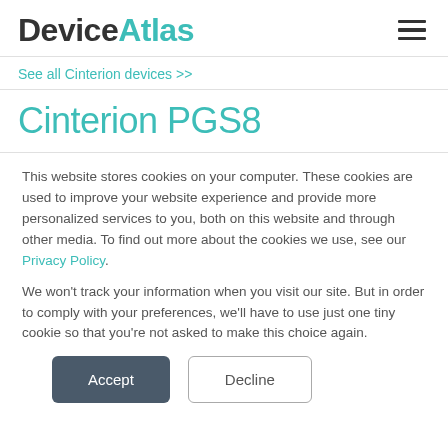DeviceAtlas
See all Cinterion devices >>
Cinterion PGS8
This website stores cookies on your computer. These cookies are used to improve your website experience and provide more personalized services to you, both on this website and through other media. To find out more about the cookies we use, see our Privacy Policy.
We won't track your information when you visit our site. But in order to comply with your preferences, we'll have to use just one tiny cookie so that you're not asked to make this choice again.